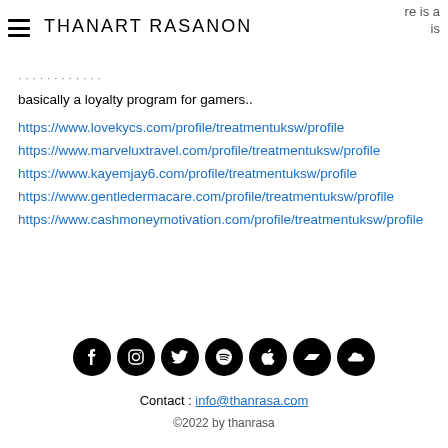THANART RASANON
basically a loyalty program for gamers..
https://www.lovekycs.com/profile/treatmentuksw/profile
https://www.marveluxtravel.com/profile/treatmentuksw/profile
https://www.kayemjay6.com/profile/treatmentuksw/profile
https://www.gentledermacare.com/profile/treatmentuksw/profile
https://www.cashmoneymotivation.com/profile/treatmentuksw/profile
[Figure (illustration): Row of 7 social media icon buttons (Facebook, Instagram, Twitter, Spotify, Apple, Bandcamp, SoundCloud) as black circles with white icons]
Contact : info@thanrasa.com
©2022 by thanrasa